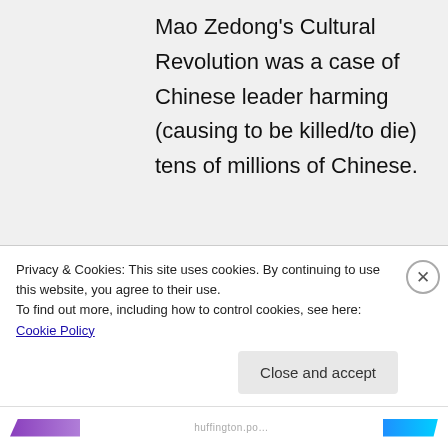Mao Zedong's Cultural Revolution was a case of Chinese leader harming (causing to be killed/to die) tens of millions of Chinese.
Pol Pot's return to Year Zero was a Khmer leader who killed millions of his Cambodian people.
The DAP evangelistes'
Privacy & Cookies: This site uses cookies. By continuing to use this website, you agree to their use.
To find out more, including how to control cookies, see here: Cookie Policy
Close and accept